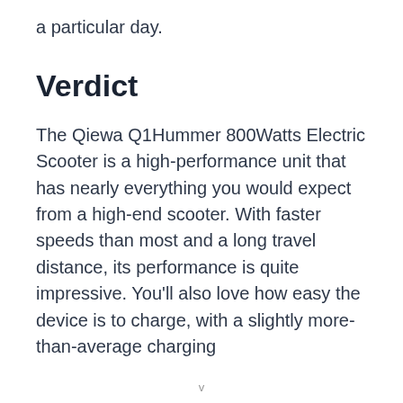a particular day.
Verdict
The Qiewa Q1Hummer 800Watts Electric Scooter is a high-performance unit that has nearly everything you would expect from a high-end scooter. With faster speeds than most and a long travel distance, its performance is quite impressive. You'll also love how easy the device is to charge, with a slightly more-than-average charging